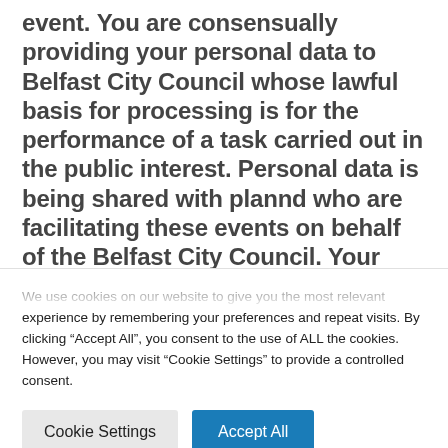event. You are consensually providing your personal data to Belfast City Council whose lawful basis for processing is for the performance of a task carried out in the public interest. Personal data is being shared with plannd who are facilitating these events on behalf of the Belfast City Council. Your personal data may be shared internally within Belfast City Council with staff who are involved in managing
We use cookies on our website to give you the most relevant experience by remembering your preferences and repeat visits. By clicking "Accept All", you consent to the use of ALL the cookies. However, you may visit "Cookie Settings" to provide a controlled consent.